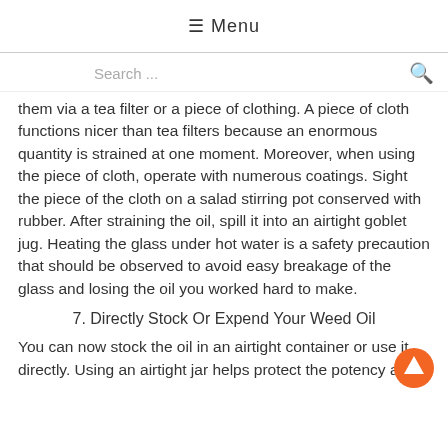☰ Menu
Search ...
them via a tea filter or a piece of clothing. A piece of cloth functions nicer than tea filters because an enormous quantity is strained at one moment. Moreover, when using the piece of cloth, operate with numerous coatings. Sight the piece of the cloth on a salad stirring pot conserved with rubber. After straining the oil, spill it into an airtight goblet jug. Heating the glass under hot water is a safety precaution that should be observed to avoid easy breakage of the glass and losing the oil you worked hard to make.
7. Directly Stock Or Expend Your Weed Oil
You can now stock the oil in an airtight container or use it directly. Using an airtight jar helps protect the potency and